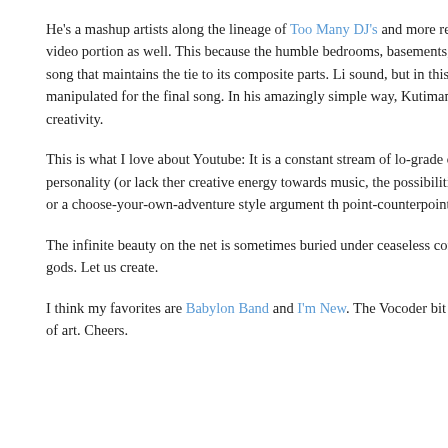He's a mashup artists along the lineage of Too Many DJ's and more recently the bo all come specifically from Youtube and incorporate the video portion as well. This because the humble bedrooms, basements, and streetcorners that youtubers broadc sillinesses, become a cohesive song that maintains the tie to its composite parts. Li sound, but in this case the visual was born with the sample. So we get a backstory manipulated for the final song. In his amazingly simple way, Kutiman taps into the repurposes it into an anthemic readers digest of DIY creativity.
This is what I love about Youtube: It is a constant stream of lo-grade creativity, wh about the 21st century. Anyone with a cameraphone and a personality (or lack ther creative energy towards music, the possibilities are pretty much limitless. Imagine some kind of connecting theme, or a choose-your-own-adventure style argument th point-counterpoint.
The infinite beauty on the net is sometimes buried under ceaseless comments and c Omniscience via the terminal makes us quiet individual gods. Let us create.
I think my favorites are Babylon Band and I'm New. The Vocoder bit in Wait for M interface too, literally cutting up youtube for a new kind of art. Cheers.